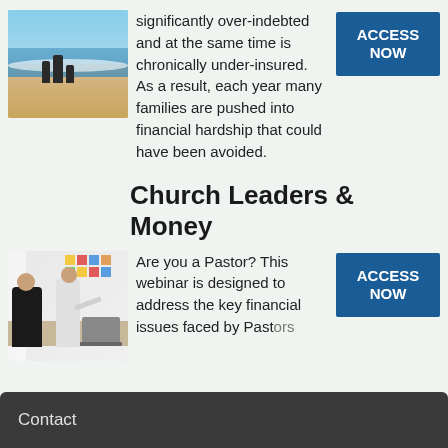[Figure (photo): Family of three (two adults and child) walking on a beach near the water's edge]
significantly over-indebted and at the same time is chronically under-insured. As a result, each year many families are pushed into financial hardship that could have been avoided.
ACCESS NOW
Church Leaders & Money
[Figure (photo): Office meeting scene with people around a table, sticky notes on the wall, person presenting]
Are you a Pastor? This webinar is designed to address the key financial issues faced by Pastors
ACCESS NOW
Contact